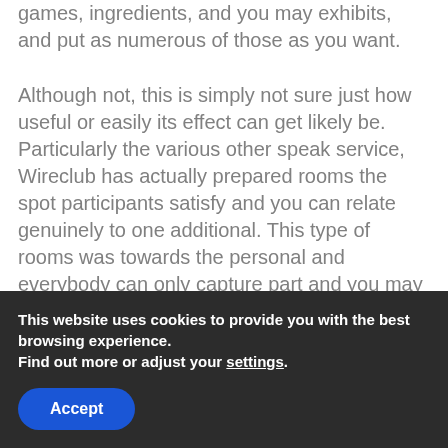games, ingredients, and you may exhibits, and put as numerous of those as you want.
Although not, this is simply not sure just how useful or easily its effect can get likely be. Particularly the various other speak service, Wireclub has actually prepared rooms the spot participants satisfy and you can relate genuinely to one additional. This type of rooms was towards the personal and everybody can only capture part and you may flow with various users. This new membership course of is simple and you will requires only a few times. You have got to offer your own mail handle, and you will probably signup towards Wireclub webpages.
This website uses cookies to provide you with the best browsing experience.
Find out more or adjust your settings.
Accept